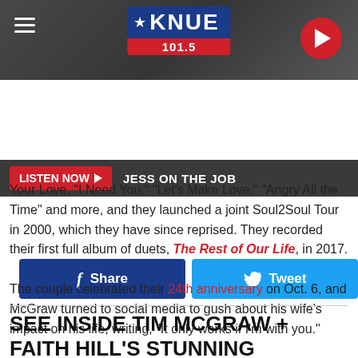KNUE 101.5
[Figure (logo): KNUE 101.5 radio station logo with blue and red branding, hamburger menu on left, play button on right]
LISTEN NOW ▶  JESS ON THE JOB
[Figure (infographic): Facebook Share button and Twitter Tweet button]
Your Love, "I Need You," "Let's Make Love," "Angry All the Time" and more, and they launched a joint Soul2Soul Tour in 2000, which they have since reprised. They recorded their first full album of duets, The Rest of Our Life, in 2017.

The couple celebrated their 24th anniversary on Oct. 6, and McGraw turned to social media to gush about his wife's impact on his life, writing, "It only works if I'm with you."
SEE INSIDE TIM MCGRAW + FAITH HILL'S STUNNING NASHVILLE ESTATE: